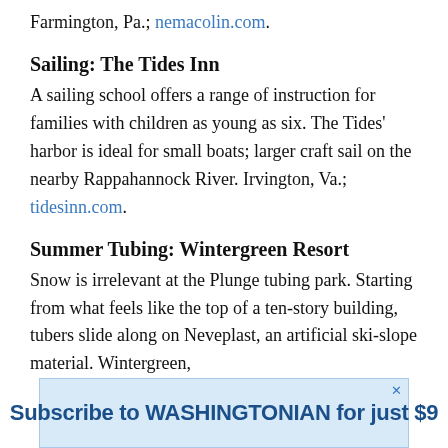Farmington, Pa.; nemacolin.com.
Sailing: The Tides Inn
A sailing school offers a range of instruction for families with children as young as six. The Tides' harbor is ideal for small boats; larger craft sail on the nearby Rappahannock River. Irvington, Va.; tidesinn.com.
Summer Tubing: Wintergreen Resort
Snow is irrelevant at the Plunge tubing park. Starting from what feels like the top of a ten-story building, tubers slide along on Neveplast, an artificial ski-slope material. Wintergreen,
[Figure (other): Advertisement banner: 'Subscribe to WASHINGTONIAN for just $9' with a close button marked X in top right.]